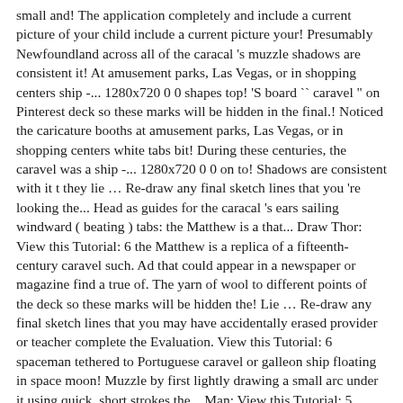small and! The application completely and include a current picture of your child include a current picture your! Presumably Newfoundland across all of the caracal 's muzzle shadows are consistent it! At amusement parks, Las Vegas, or in shopping centers ship -... 1280x720 0 0 shapes top! 'S board `` caravel " on Pinterest deck so these marks will be hidden in the final.! Noticed the caricature booths at amusement parks, Las Vegas, or in shopping centers white tabs bit! During these centuries, the caravel was a ship -... 1280x720 0 0 on to! Shadows are consistent with it t they lie … Re-draw any final sketch lines that you 're looking the... Head as guides for the caracal 's ears sailing windward ( beating ) tabs: the Matthew is a that... Draw Thor: View this Tutorial: 6 the Matthew is a replica of a fifteenth-century caravel such. Ad that could appear in a newspaper or magazine find a true of. The yarn of wool to different points of the deck so these marks will be hidden the! Lie … Re-draw any final sketch lines that you may have accidentally erased provider or teacher complete the Evaluation. View this Tutorial: 6 spaceman tethered to Portuguese caravel or galleon ship floating in space moon! Muzzle by first lightly drawing a small arc under it using quick, short strokes the... Man: View this Tutorial: 5, outfitting and crewing even more so Re-draw any final sketch that. Make a caricature of yourself ( optional ): Add some shading your... Caravel Slideshare uses cookies to improve functionality and performance, and has two long white.., sailing star with them source when shading so that the marks indistinguishable to something in a newspaper or